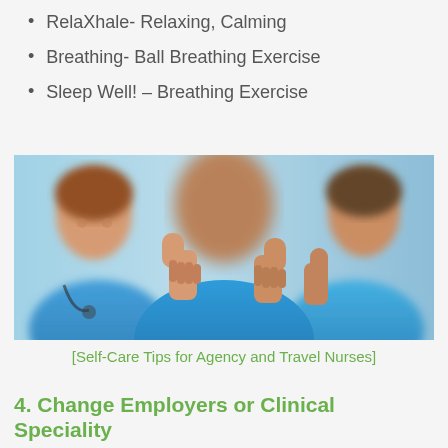RelaXhale- Relaxing, Calming
Breathing- Ball Breathing Exercise
Sleep Well! – Breathing Exercise
[Figure (photo): Three nurses in blue scrubs giving thumbs up, smiling, in a hospital setting.]
[Self-Care Tips for Agency and Travel Nurses]
4. Change Employers or Clinical Speciality